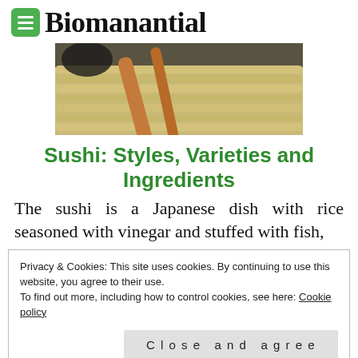Biomanantial
[Figure (photo): Close-up photo of chopsticks resting on a bamboo sushi mat with dark background]
Sushi: Styles, Varieties and Ingredients
The sushi is a Japanese dish with rice seasoned with vinegar and stuffed with fish,
Privacy & Cookies: This site uses cookies. By continuing to use this website, you agree to their use.
To find out more, including how to control cookies, see here: Cookie policy
Close and agree
[Figure (photo): Partial photo of sushi with green garnish visible at bottom of page]